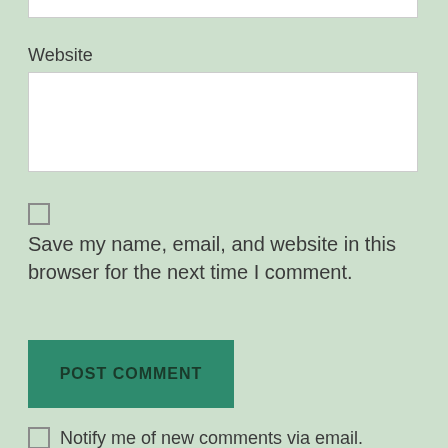Website
Save my name, email, and website in this browser for the next time I comment.
POST COMMENT
Notify me of new comments via email.
Notify me of new posts via email.